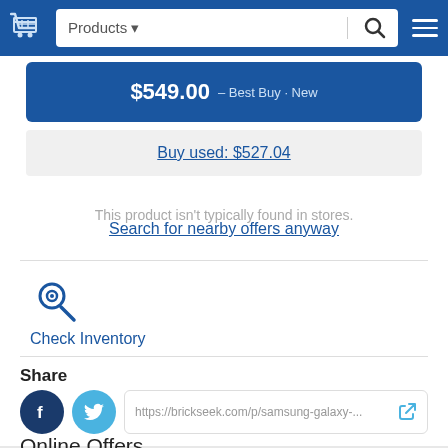Products ▼ [search bar] [menu]
$549.00 – Best Buy · New
Buy used: $527.04
This product isn't typically found in stores.
Search for nearby offers anyway
[Figure (other): Check Inventory icon with magnifier/location pin]
Check Inventory
Share
https://brickseek.com/p/samsung-galaxy-...
Online Offers